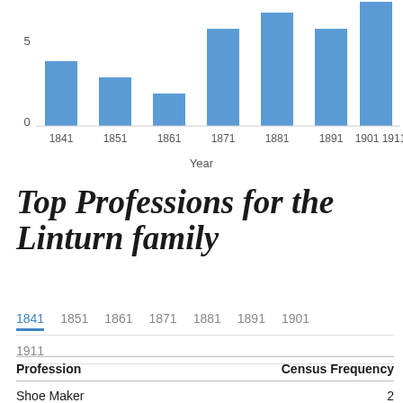[Figure (bar-chart): ]
Top Professions for the Linturn family
1841  1851  1861  1871  1881  1891  1901  1911
| Profession | Census Frequency |
| --- | --- |
| Shoe Maker | 2 |
| Shoe Binder | 1 |